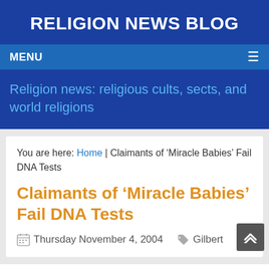RELIGION NEWS BLOG
MENU
Religion news: religious cults, sects, and world religions
You are here: Home | Claimants of ‘Miracle Babies’ Fail DNA Tests
Claimants of ‘Miracle Babies’ Fail DNA Tests
Thursday November 4, 2004   Gilbert